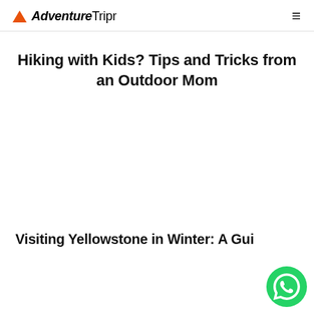AdventureTripr
Hiking with Kids? Tips and Tricks from an Outdoor Mom
[Figure (other): Large image placeholder area (white/blank) below the first article title]
Visiting Yellowstone in Winter: A Gui...
[Figure (other): WhatsApp floating action button in bottom-right corner]